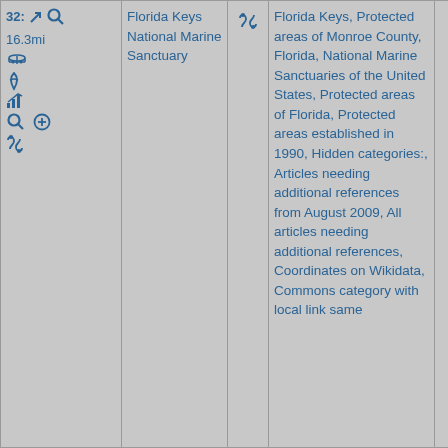|  | Name | Link | Categories |  |
| --- | --- | --- | --- | --- |
| 32: 16.3mi [icons] | Florida Keys National Marine Sanctuary | [link icon] | Florida Keys, Protected areas of Monroe County, Florida, National Marine Sanctuaries of the United States, Protected areas of Florida, Protected areas established in 1990, Hidden categories:, Articles needing additional references from August 2009, All articles needing additional references, Coordinates on Wikidata, Commons category with local link same |  |